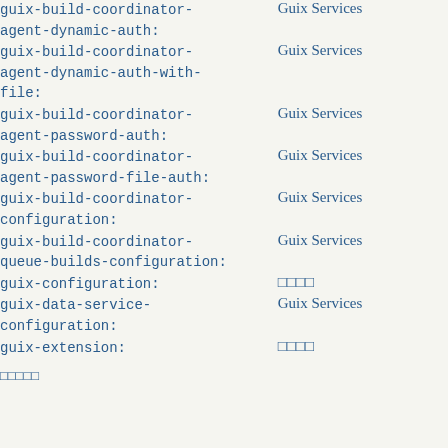guix-build-coordinator-agent-dynamic-auth:
guix-build-coordinator-agent-dynamic-auth-with-file:
guix-build-coordinator-agent-password-auth:
guix-build-coordinator-agent-password-file-auth:
guix-build-coordinator-configuration:
guix-build-coordinator-queue-builds-configuration:
guix-configuration:
guix-data-service-configuration:
guix-extension:
...